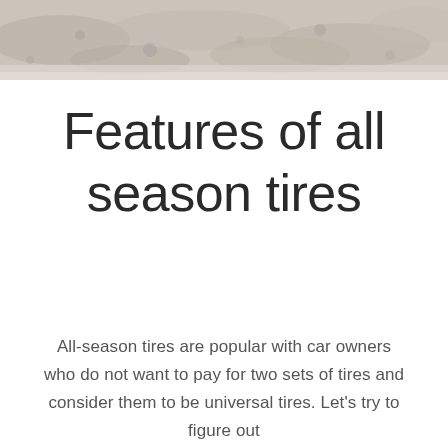[Figure (photo): A grayscale/muted photo banner showing a rocky or gravel outdoor terrain, used as a decorative header image.]
Features of all season tires
All-season tires are popular with car owners who do not want to pay for two sets of tires and consider them to be universal tires. Let's try to figure out